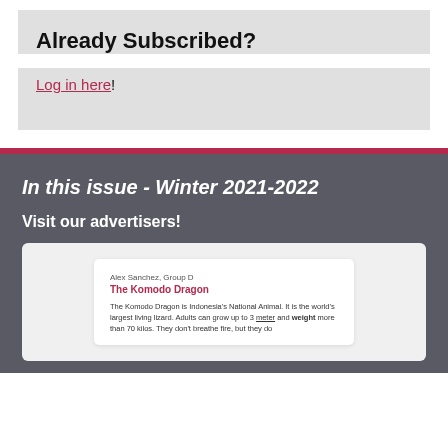Already Subscribed?
Log in here!
In this issue - Winter 2021-2022
Visit our advertisers!
[Figure (screenshot): Preview of a student article card showing 'Alex Sanchez, Group D' and 'The Komodo Dragon' with body text about the Komodo Dragon being Indonesia's National Animal.]